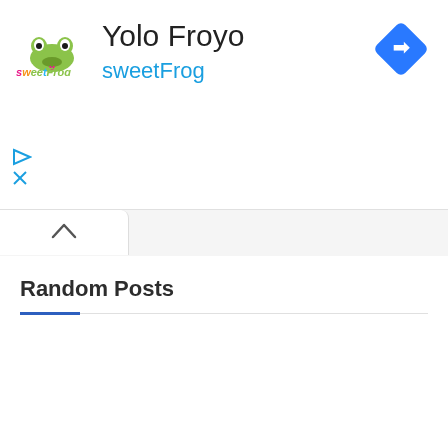[Figure (screenshot): sweetFrog logo with pink, orange, green, and blue colored letters]
Yolo Froyo
sweetFrog
[Figure (other): Blue diamond-shaped navigation/directions icon with white arrow pointing right]
[Figure (other): Blue triangle play icon and blue X icon (ad controls)]
[Figure (other): Tab with up caret/chevron icon indicating collapsible panel]
Random Posts